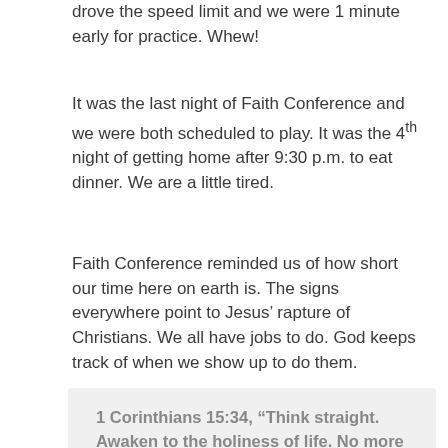drove the speed limit and we were 1 minute early for practice. Whew!
It was the last night of Faith Conference and we were both scheduled to play. It was the 4th night of getting home after 9:30 p.m. to eat dinner. We are a little tired.
Faith Conference reminded us of how short our time here on earth is. The signs everywhere point to Jesus’ rapture of Christians. We all have jobs to do. God keeps track of when we show up to do them.
1 Corinthians 15:34, “Think straight. Awaken to the holiness of life. No more